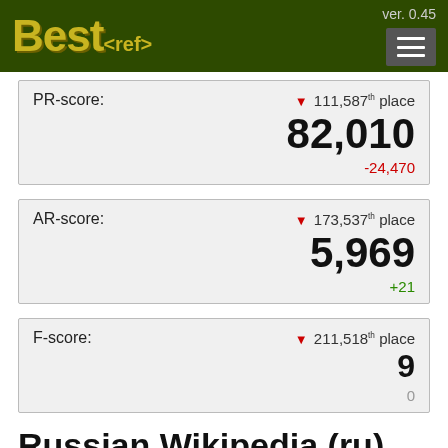Best<ref> ver. 0.45
PR-score: ▼ 111,587th place
82,010
-24,470
AR-score: ▼ 173,537th place
5,969
+21
F-score: ▼ 211,518th place
9
0
Russian Wikipedia (ru)